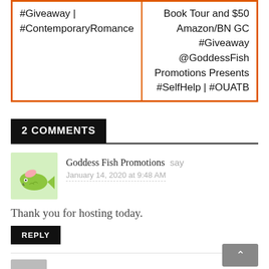#Giveaway | #ContemporaryRomance
Book Tour and $50 Amazon/BN GC #Giveaway @GoddessFish Promotions Presents #SelfHelp | #OUATB
2 COMMENTS
Goddess Fish Promotions say
January 14, 2020 at 9:48 AM
Thank you for hosting today.
REPLY